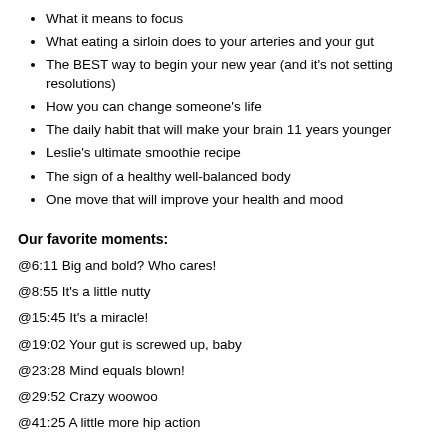What it means to focus
What eating a sirloin does to your arteries and your gut
The BEST way to begin your new year (and it's not setting resolutions)
How you can change someone's life
The daily habit that will make your brain 11 years younger
Leslie's ultimate smoothie recipe
The sign of a healthy well-balanced body
One move that will improve your health and mood
Our favorite moments:
@6:11 Big and bold? Who cares!
@8:55 It's a little nutty
@15:45 It's a miracle!
@19:02 Your gut is screwed up, baby
@23:28 Mind equals blown!
@29:52 Crazy woowoo
@41:25 A little more hip action